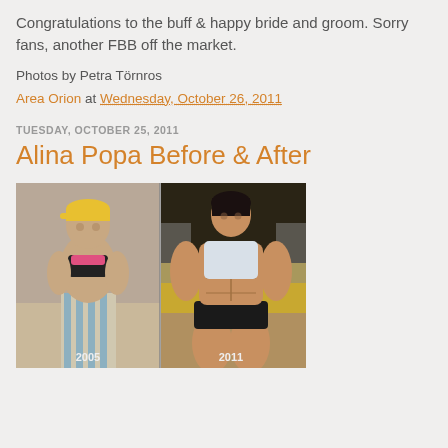Congratulations to the buff & happy bride and groom. Sorry fans, another FBB off the market.
Photos by Petra Törnros
Area Orion at Wednesday, October 26, 2011
TUESDAY, OCTOBER 25, 2011
Alina Popa Before & After
[Figure (photo): Before and after photos of Alina Popa. Left photo (2005): woman in yellow cap and striped pants posing in gym. Right photo (2011): highly muscular woman in white sports top and black shorts posing in gym.]